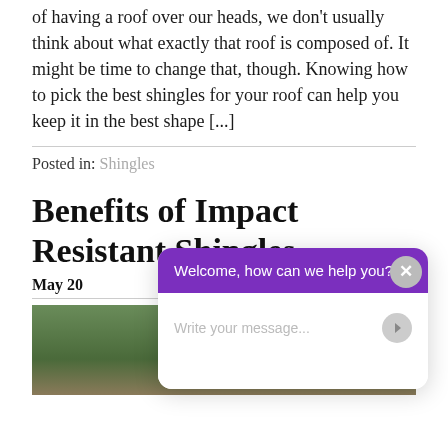of having a roof over our heads, we don't usually think about what exactly that roof is composed of. It might be time to change that, though. Knowing how to pick the best shingles for your roof can help you keep it in the best shape [...]
Posted in: Shingles
Benefits of Impact Resistant Shingles
May 20
[Figure (photo): Photo of a house roof with trees in background, partially obscured by chat widget]
Welcome, how can we help you? [chat widget overlay with text input field]